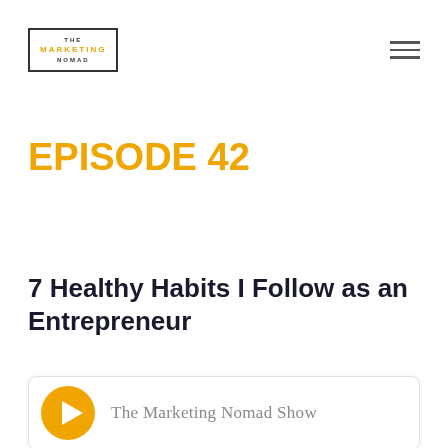THE MARKETING NOMAD
EPISODE 42
7 Healthy Habits I Follow as an Entrepreneur
[Figure (logo): Podcast player card showing a golden play button icon and the text 'The Marketing Nomad Show']